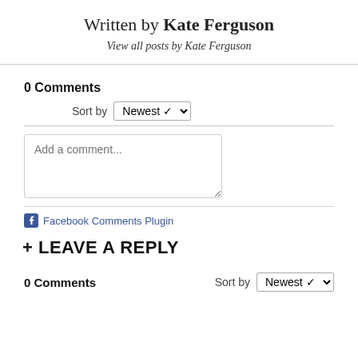Written by Kate Ferguson
View all posts by Kate Ferguson
0 Comments
Sort by Newest
Add a comment...
Facebook Comments Plugin
+ LEAVE A REPLY
0 Comments
Sort by Newest